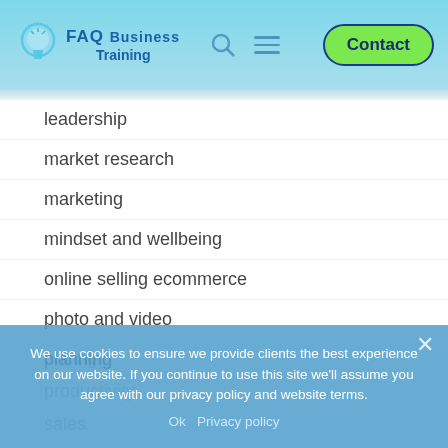[Figure (logo): FAQ Business Training logo with lightbulb icon]
leadership
market research
marketing
mindset and wellbeing
online selling ecommerce
photo and video
planning
pricing
productivity
sales
self care
We use cookies to ensure we provide clients the best experience on our website. If you continue to use this site we'll assume you agree with our privacy policy and website terms.
Ok   Privacy policy